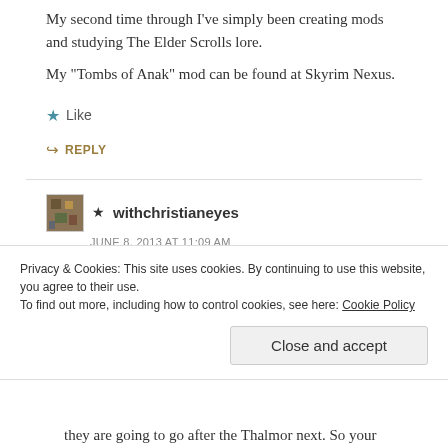My second time through I've simply been creating mods and studying The Elder Scrolls lore.
My “Tombs of Anak” mod can be found at Skyrim Nexus.
★ Like
↪ REPLY
★ withchristianeyes
JUNE 8, 2013 AT 11:09 AM
The Imperials aren’t perfect, but from what you say you don’t seem to have listened to all of their dialog at all
Privacy & Cookies: This site uses cookies. By continuing to use this website, you agree to their use.
To find out more, including how to control cookies, see here: Cookie Policy
Close and accept
they are going to go after the Thalmor next. So your